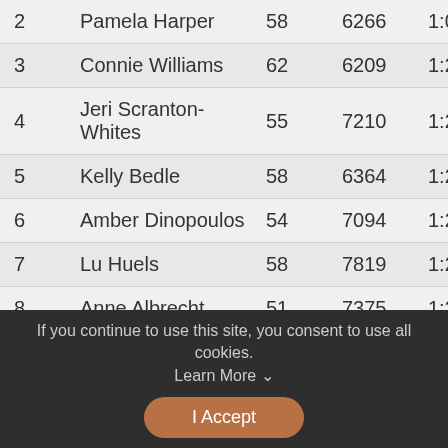| # | Name | Age | Bib | Time |
| --- | --- | --- | --- | --- |
| 2 | Pamela Harper | 58 | 6266 | 1:07:15 |
| 3 | Connie Williams | 62 | 6209 | 1:23:37 |
| 4 | Jeri Scranton-Whites | 55 | 7210 | 1:23:28 |
| 5 | Kelly Bedle | 58 | 6364 | 1:29:46 |
| 6 | Amber Dinopoulos | 54 | 7094 | 1:20:03 |
| 7 | Lu Huels | 58 | 7819 | 1:21:07 |
| 8 | Anne Albrecht | 51 | 7375 | 1:21:44 |
If you continue to use this site, you consent to use all cookies. Learn More